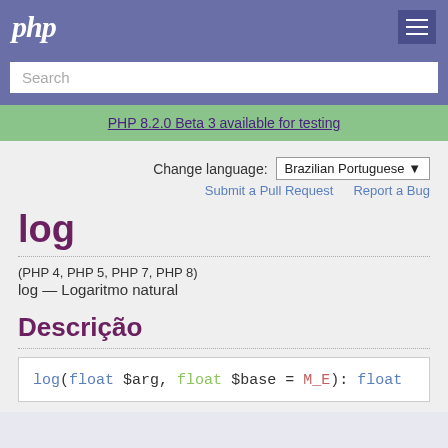php
Search
PHP 8.2.0 Beta 3 available for testing
Change language: Brazilian Portuguese
Submit a Pull Request    Report a Bug
log
(PHP 4, PHP 5, PHP 7, PHP 8)
log — Logaritmo natural
Descrição